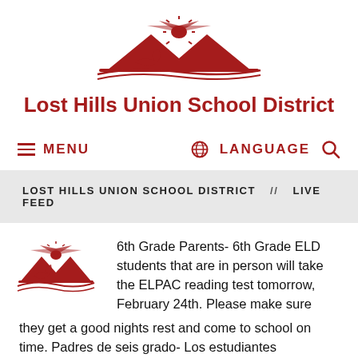[Figure (logo): Lost Hills Union School District logo — red mountain/sun/hand imagery]
Lost Hills Union School District
MENU   LANGUAGE
LOST HILLS UNION SCHOOL DISTRICT // LIVE FEED
[Figure (logo): Small red school district logo icon]
6th Grade Parents- 6th Grade ELD students that are in person will take the ELPAC reading test tomorrow, February 24th. Please make sure they get a good nights rest and come to school on time. Padres de seis grado- Los estudiantes